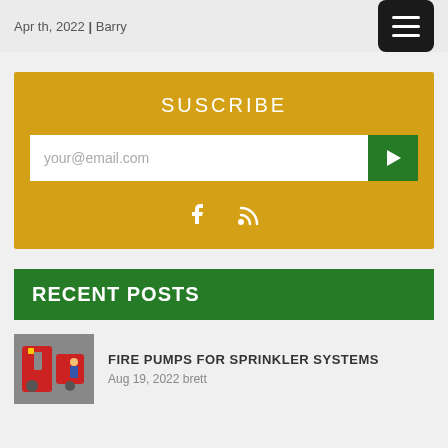Apr th, 2022 | Barry
SUSCRIBE
your@email.com
[Figure (infographic): Subscribe section with email input and social icons (Facebook and RSS)]
RECENT POSTS
[Figure (photo): Thumbnail image of fire pumps for sprinkler systems]
FIRE PUMPS FOR SPRINKLER SYSTEMS
Aug 19, 2022 brett